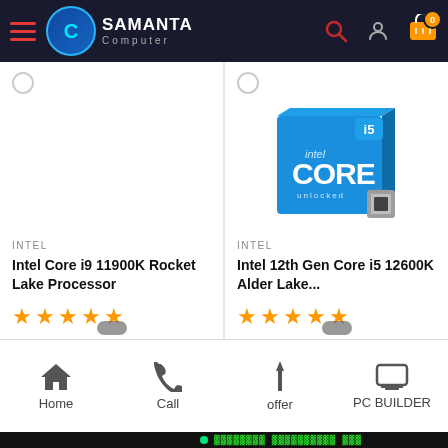Samanta Computer - Navigation Header
[Figure (screenshot): Intel Core i9 11900K Rocket Lake Processor product card with orange star rating]
[Figure (screenshot): Intel 12th Gen Core i5 12600K Alder Lake product card with Intel Core i5 box image and orange star rating]
Home | Call | offer | PC BUILDER navigation bar